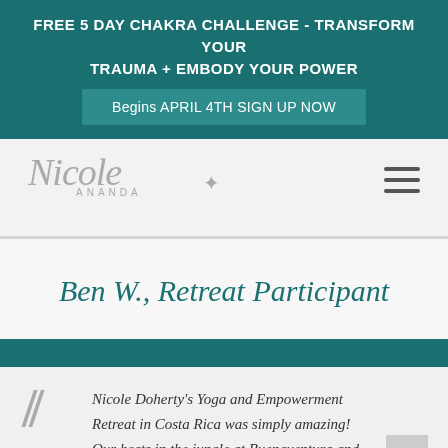FREE 5 DAY CHAKRA CHALLENGE - TRANSFORM YOUR TRAUMA + EMBODY YOUR POWER
Begins APRIL 4TH SIGN UP NOW
[Figure (logo): Nicole Ananda script logo with decorative cross symbol and the word ANANDA below]
Ben W., Retreat Participant
Nicole Doherty's Yoga and Empowerment Retreat in Costa Rica was simply amazing! Our hosts in the jungle at Buenaventura and